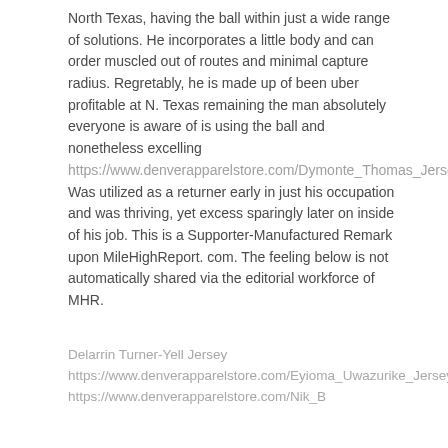North Texas, having the ball within just a wide range of solutions. He incorporates a little body and can order muscled out of routes and minimal capture radius. Regretably, he is made up of been uber profitable at N. Texas remaining the man absolutely everyone is aware of is using the ball and nonetheless excelling https://www.denverapparelstore.com/Dymonte_Thomas_Jersey. Was utilized as a returner early in just his occupation and was thriving, yet excess sparingly later on inside of his job. This is a Supporter-Manufactured Remark upon MileHighReport. com. The feeling below is not automatically shared via the editorial workforce of MHR.
Delarrin Turner-Yell Jersey https://www.denverapparelstore.com/Eyioma_Uwazurike_Jersey https://www.denverapparelstore.com/Nik_B